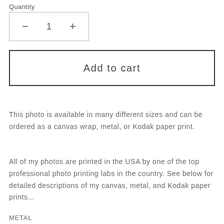Quantity
— 1 +
Add to cart
This photo is available in many different sizes and can be ordered as a canvas wrap, metal, or Kodak paper print.
All of my photos are printed in the USA by one of the top professional photo printing labs in the country. See below for detailed descriptions of my canvas, metal, and Kodak paper prints...
METAL